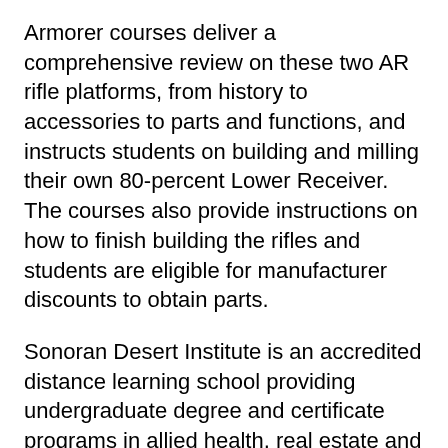Armorer courses deliver a comprehensive review on these two AR rifle platforms, from history to accessories to parts and functions, and instructs students on building and milling their own 80-percent Lower Receiver. The courses also provide instructions on how to finish building the rifles and students are eligible for manufacturer discounts to obtain parts.
Sonoran Desert Institute is an accredited distance learning school providing undergraduate degree and certificate programs in allied health, real estate and construction and firearms technology. The school has been an innovator since its inception and is accredited by the Distance Education Accrediting Commission (DEAC). SDI educational programs are designed predominantly for adult learners, based on principles and practices of active self-learning, and feature one-on-one faculty class facilitation. Certain SDI programs are also approved for use of the G.I. Bill® Education Program and other VA benefits.